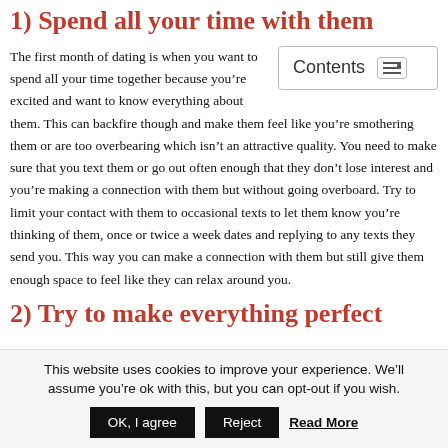1) Spend all your time with them
The first month of dating is when you want to spend all your time together because you’re excited and want to know everything about them. This can backfire though and make them feel like you’re smothering them or are too overbearing which isn’t an attractive quality. You need to make sure that you text them or go out often enough that they don’t lose interest and you’re making a connection with them but without going overboard. Try to limit your contact with them to occasional texts to let them know you’re thinking of them, once or twice a week dates and replying to any texts they send you. This way you can make a connection with them but still give them enough space to feel like they can relax around you.
2) Try to make everything perfect
This website uses cookies to improve your experience. We’ll assume you’re ok with this, but you can opt-out if you wish.